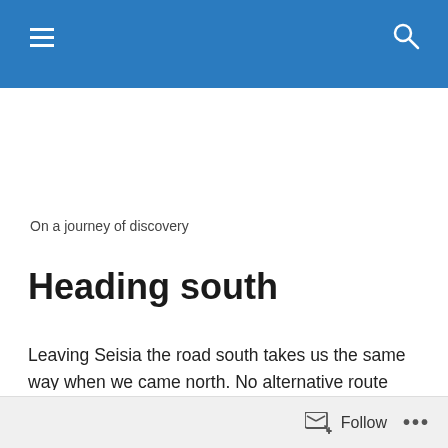On a journey of discovery
Heading south
Leaving Seisia the road south takes us the same way when we came north. No alternative route south! First obstacle is to navigate the corrugations and get across the Jardine River, which is Queensland longest perennial river. It flows huge volumes of water. Thankfully, we had safe
Follow ...